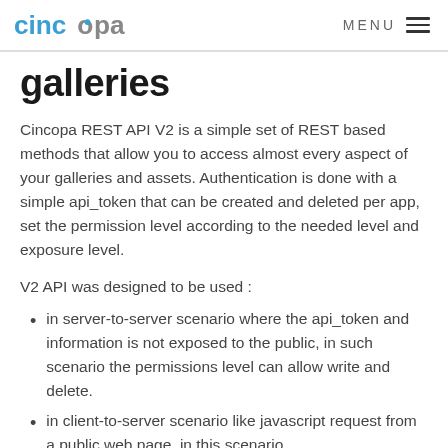cincopa  MENU
galleries
Cincopa REST API V2 is a simple set of REST based methods that allow you to access almost every aspect of your galleries and assets. Authentication is done with a simple api_token that can be created and deleted per app, set the permission level according to the needed level and exposure level.
V2 API was designed to be used :
in server-to-server scenario where the api_token and information is not exposed to the public, in such scenario the permissions level can allow write and delete.
in client-to-server scenario like javascript request from a public web page, in this scenario